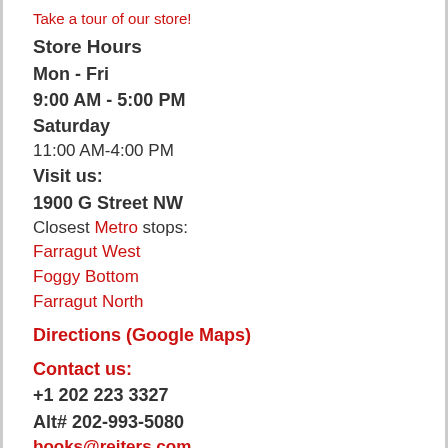Take a tour of our store!
Store Hours
Mon - Fri
9:00 AM - 5:00 PM
Saturday
11:00 AM-4:00 PM
Visit us:
1900 G Street NW
Closest Metro stops:
Farragut West
Foggy Bottom
Farragut North
Directions (Google Maps)
Contact us:
+1 202 223 3327
Alt# 202-993-5080
books@reiters.com
[Figure (other): Social media icons: Facebook, Pinterest, Twitter]